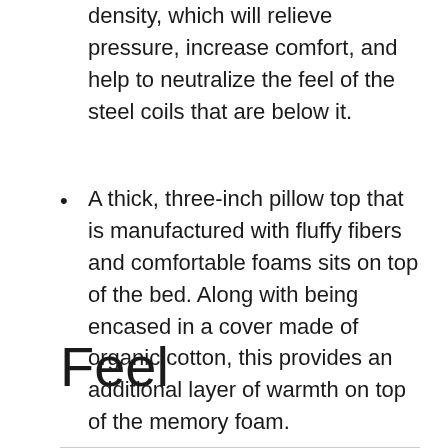density, which will relieve pressure, increase comfort, and help to neutralize the feel of the steel coils that are below it.
A thick, three-inch pillow top that is manufactured with fluffy fibers and comfortable foams sits on top of the bed. Along with being encased in a cover made of organic cotton, this provides an additional layer of warmth on top of the memory foam.
Feel